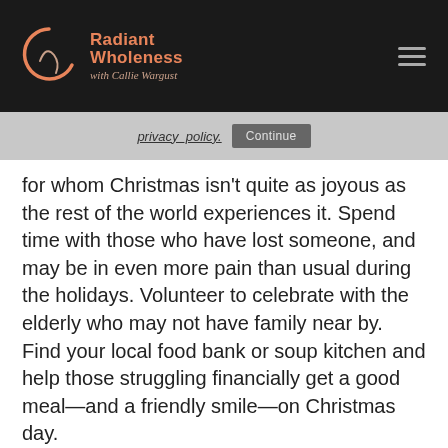Radiant Wholeness with Callie Wargust
for whom Christmas isn't quite as joyous as the rest of the world experiences it. Spend time with those who have lost someone, and may be in even more pain than usual during the holidays. Volunteer to celebrate with the elderly who may not have family near by. Find your local food bank or soup kitchen and help those struggling financially get a good meal—and a friendly smile—on Christmas day.
Create a new ritual that enriches the holiday experience for your friends and family for years to come. Organize a party—another opportunity to connect—to sing